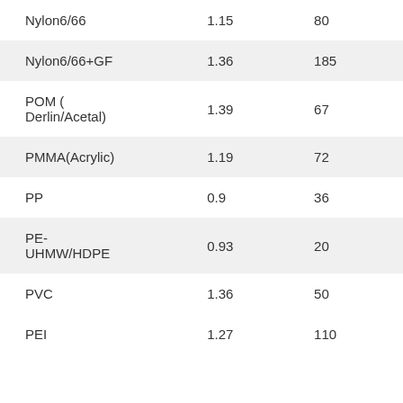| Nylon6/66 | 1.15 | 80 |
| Nylon6/66+GF | 1.36 | 185 |
| POM (
Derlin/Acetal) | 1.39 | 67 |
| PMMA(Acrylic) | 1.19 | 72 |
| PP | 0.9 | 36 |
| PE-UHMW/HDPE | 0.93 | 20 |
| PVC | 1.36 | 50 |
| PEI | 1.27 | 110 |